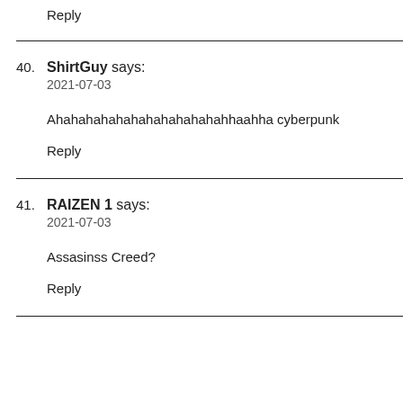Reply
40. ShirtGuy says:
2021-07-03
Ahahahahahahahahahahahahhaahha cyberpunk
Reply
41. RAIZEN 1 says:
2021-07-03
Assasinss Creed?
Reply